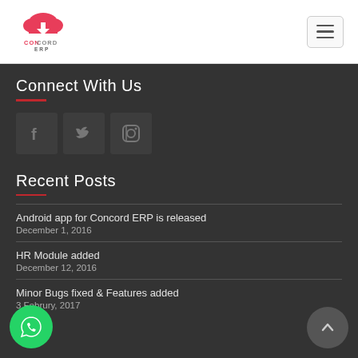[Figure (logo): Concord ERP logo with cloud icon in pink/red]
[Figure (illustration): Hamburger menu button (three horizontal lines) in top right]
Connect With Us
[Figure (illustration): Three social media icons: Facebook, Twitter, Instagram]
Recent Posts
Android app for Concord ERP is released
December 1, 2016
HR Module added
December 12, 2016
Minor Bugs fixed & Features added
3 Februry, 2017